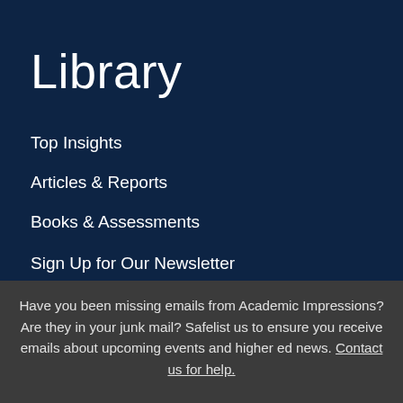Library
Top Insights
Articles & Reports
Books & Assessments
Sign Up for Our Newsletter
Have you been missing emails from Academic Impressions? Are they in your junk mail? Safelist us to ensure you receive emails about upcoming events and higher ed news. Contact us for help.
We use cookies to ensure that we give you the best experience on our website. By using our site, you consent to our use of cookies.